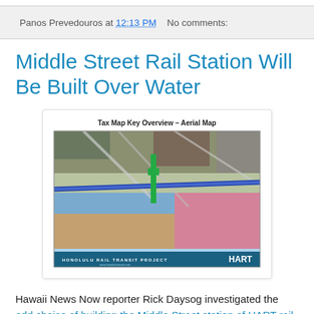Panos Prevedouros at 12:13 PM   No comments:
Middle Street Rail Station Will Be Built Over Water
[Figure (map): Tax Map Key Overview – Aerial Map showing the Middle Street rail station route over Kalihi stream, with a blue rail line and green station marker overlay on aerial photography. HONOLULU RAIL TRANSIT PROJECT / HART branding at bottom.]
Hawaii News Now reporter Rick Daysog investigated the odd choice of building the Middle Street station of HART rail over the flood prone Kalihi stream. I opined as follows: